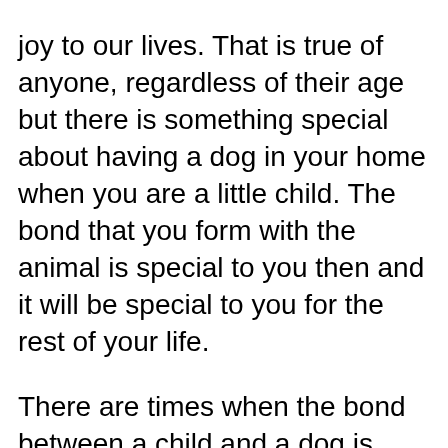joy to our lives. That is true of anyone, regardless of their age but there is something special about having a dog in your home when you are a little child. The bond that you form with the animal is special to you then and it will be special to you for the rest of your life.

There are times when the bond between a child and a dog is beyond adorable. When we bring a dog into our life, it is sometimes even before the baby is born. Many times, a pregnant mother will say that the dog became very protective during the time that they were pregnant, and that was the case for Paige Knudtson. When she found out that she was pregnant with Finn, they decided to bring Brutus into their lives. That boxer was two years old at the